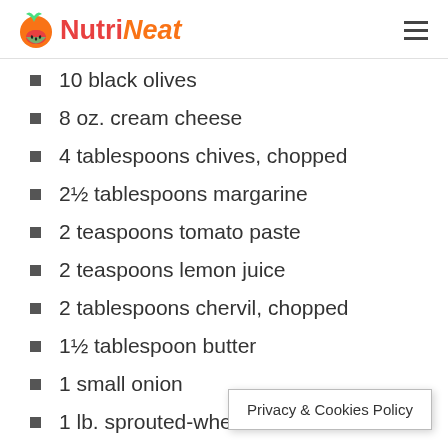NutriNeat
10 black olives
8 oz. cream cheese
4 tablespoons chives, chopped
2½ tablespoons margarine
2 teaspoons tomato paste
2 teaspoons lemon juice
2 tablespoons chervil, chopped
1½ tablespoon butter
1 small onion
1 lb. sprouted-wheat bread
1 ripe avocado
1 tea
Privacy & Cookies Policy